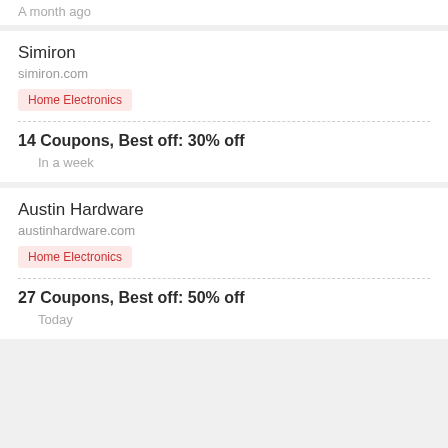A month ago
Simiron
simiron.com
Home Electronics
14 Coupons,  Best off: 30% off
In a week
Austin Hardware
austinhardware.com
Home Electronics
27 Coupons,  Best off: 50% off
Today